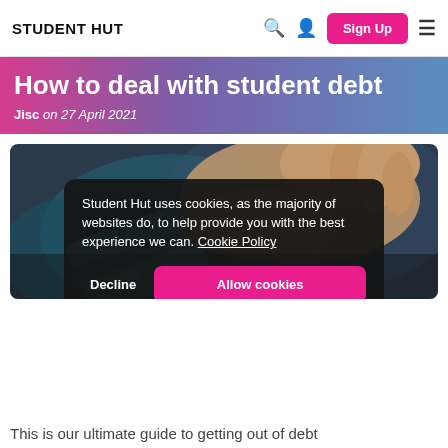STUDENT HUT
How to deal with student debt
Jisc on 27 April 2021
[Figure (photo): Close-up photo of a hand holding a blue credit/debit card]
Student Hut uses cookies, as the majority of websites do, to help provide you with the best experience we can. Cookie Policy
This is our ultimate guide to getting out of debt